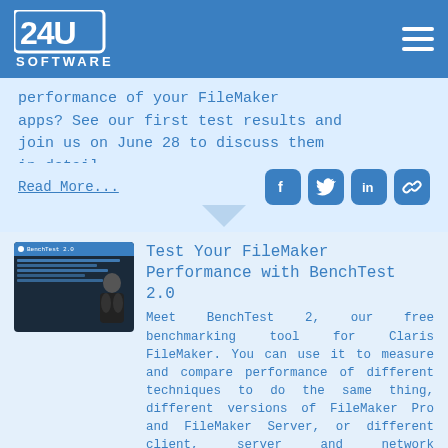24U SOFTWARE
performance of your FileMaker apps? See our first test results and join us on June 28 to discuss them in detail.
Read More...
[Figure (screenshot): BenchTest 2.0 screenshot with person in background]
Test Your FileMaker Performance with BenchTest 2.0
Meet BenchTest 2, our free benchmarking tool for Claris FileMaker. You can use it to measure and compare performance of different techniques to do the same thing, different versions of FileMaker Pro and FileMaker Server, or different client, server and network configurations.